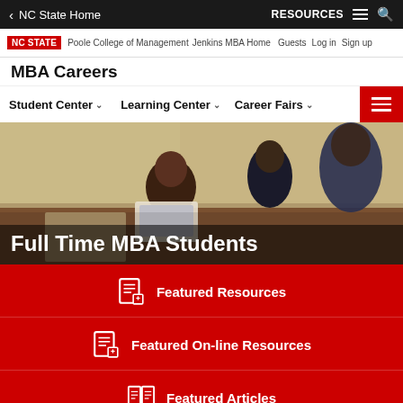NC State Home | RESOURCES
NC STATE | Poole College of Management | Jenkins MBA Home | Guests | Log in | Sign up
MBA Careers
Student Center | Learning Center | Career Fairs
[Figure (photo): Group of MBA students seated around a table with laptops in a meeting room]
Full Time MBA Students
Featured Resources
Featured On-line Resources
Featured Articles
Videos
Explore Career Options